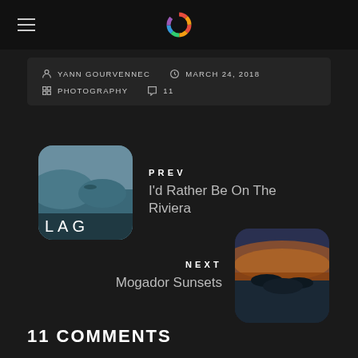Navigation header with hamburger menu and logo
YANN GOURVENNEC   MARCH 24, 2018   PHOTOGRAPHY   11
PREV
I'd Rather Be On The Riviera
NEXT
Mogador Sunsets
11 COMMENTS